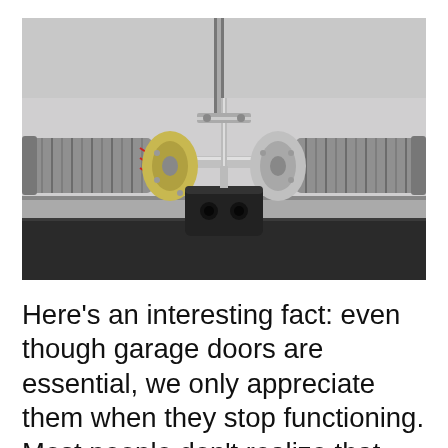[Figure (photo): Close-up photo of a garage door torsion spring assembly. Shows two large helical torsion springs (grey, coiled) on either side of a central steel shaft. The center has a winding drum and cable drum mechanism. A vertical steel bar/rod goes upward. At the bottom center is a black rectangular center bracket with two mounting holes. The background shows the white garage door header and grey door panel.]
Here’s an interesting fact: even though garage doors are essential, we only appreciate them when they stop functioning. Most people don’t realize that maintaining the garage doors is key to